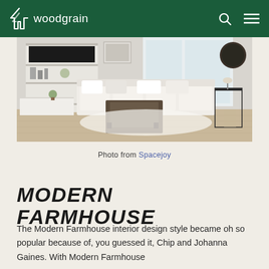woodgrain
[Figure (photo): Modern living room interior with white sectional sofa, dark wood coffee table, white shelving unit with TV, and light hardwood flooring]
Photo from Spacejoy
MODERN FARMHOUSE
The Modern Farmhouse interior design style became oh so popular because of, you guessed it, Chip and Johanna Gaines. With Modern Farmhouse